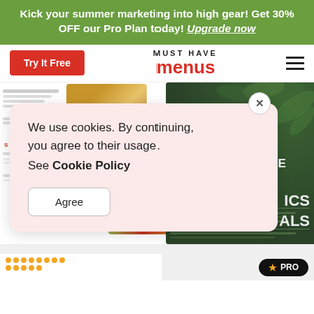Kick your summer marketing into high gear! Get 30% OFF our Pro Plan today! Upgrade now
Try It Free
[Figure (logo): Must Have Menus logo with bold red 'menus' text]
[Figure (screenshot): Website content area showing restaurant menu previews including a BBQ menu and Cedar & Pine Cocktail Lounge menu]
We use cookies. By continuing, you agree to their usage. See Cookie Policy
Agree